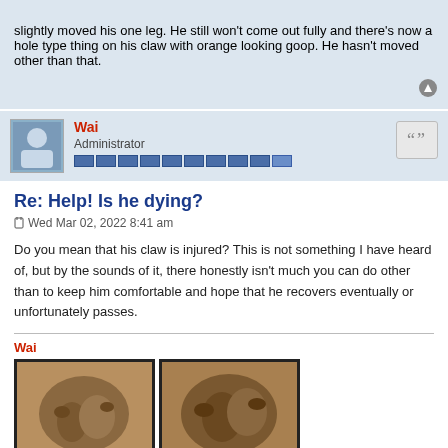slightly moved his one leg. He still won't come out fully and there's now a hole type thing on his claw with orange looking goop. He hasn't moved other than that.
Wai
Administrator
Re: Help! Is he dying?
Wed Mar 02, 2022 8:41 am
Do you mean that his claw is injured? This is not something I have heard of, but by the sounds of it, there honestly isn't much you can do other than to keep him comfortable and hope that he recovers eventually or unfortunately passes.
Wai
[Figure (photo): Two side-by-side images labeled EUROPA and DEIMOS showing hermit crabs]
4 posts • Page 1 of 1
Jump to